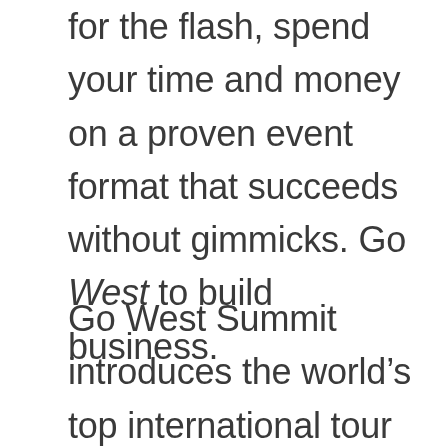for the flash, spend your time and money on a proven event format that succeeds without gimmicks. Go West to build business.
Go West Summit introduces the world's top international tour operators to specialty suppliers offering tourism-